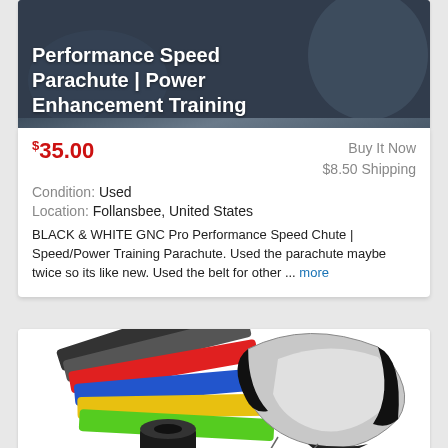[Figure (photo): Product image of Performance Speed Parachute / Power Enhancement Training item with dark athletic background]
Performance Speed Parachute | Power Enhancement Training
$35.00  Buy It Now  $8.50 Shipping
Condition: Used
Location: Follansbee, United States
BLACK & WHITE GNC Pro Performance Speed Chute | Speed/Power Training Parachute. Used the parachute maybe twice so its like new. Used the belt for other ... more
[Figure (photo): Product kit image showing resistance bands (green, yellow, blue, red, black), a speed parachute (silver/black), an agility ladder (pink), cones, a bag, and instruction booklet]